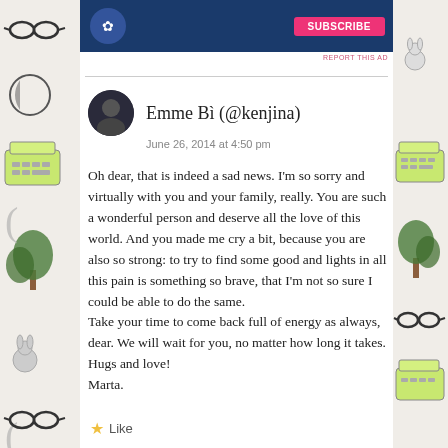[Figure (screenshot): Ad banner at top of page with dark blue background]
REPORT THIS AD
Emme Bì (@kenjina)
June 26, 2014 at 4:50 pm

Oh dear, that is indeed a sad news. I'm so sorry and virtually with you and your family, really. You are such a wonderful person and deserve all the love of this world. And you made me cry a bit, because you are also so strong: to try to find some good and lights in all this pain is something so brave, that I'm not so sure I could be able to do the same.
Take your time to come back full of energy as always, dear. We will wait for you, no matter how long it takes.
Hugs and love!
Marta.
Like